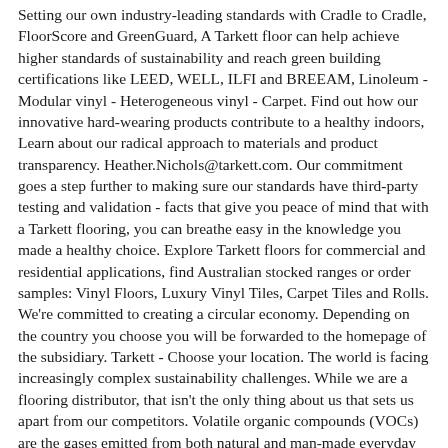Setting our own industry-leading standards with Cradle to Cradle, FloorScore and GreenGuard, A Tarkett floor can help achieve higher standards of sustainability and reach green building certifications like LEED, WELL, ILFI and BREEAM, Linoleum - Modular vinyl - Heterogeneous vinyl - Carpet. Find out how our innovative hard-wearing products contribute to a healthy indoors, Learn about our radical approach to materials and product transparency. Heather.Nichols@tarkett.com. Our commitment goes a step further to making sure our standards have third-party testing and validation - facts that give you peace of mind that with a Tarkett flooring, you can breathe easy in the knowledge you made a healthy choice. Explore Tarkett floors for commercial and residential applications, find Australian stocked ranges or order samples: Vinyl Floors, Luxury Vinyl Tiles, Carpet Tiles and Rolls. We're committed to creating a circular economy. Depending on the country you choose you will be forwarded to the homepage of the subsidiary. Tarkett - Choose your location. The world is facing increasingly complex sustainability challenges. While we are a flooring distributor, that isn't the only thing about us that sets us apart from our competitors. Volatile organic compounds (VOCs) are the gases emitted from both natural and man-made everyday objects. Tarkett sells 1.3 million square meters of flooring every day, for hospitals, schools, housing, hotels, offices, stores and sports fields. Tarkett, a worldwide leader of innovative and sustainable flooring and sports surface solutions 8410 Arions